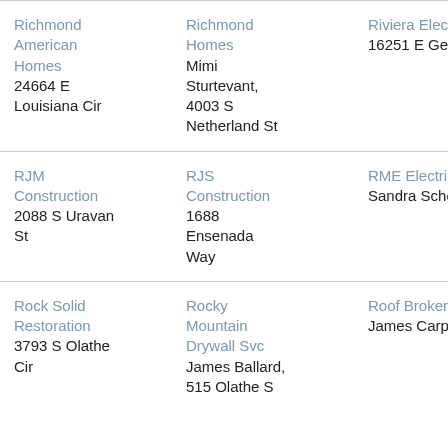| Richmond American Homes
24664 E Louisiana Cir | Richmond Homes
Mimi Sturtevant,
4003 S Netherland St | Riviera Electric
16251 E Gedde |
| RJM Construction
2088 S Uravan St | RJS Construction
1688 Ensenada Way | RME Electric C
Sandra Scholte |
| Rock Solid Restoration
3793 S Olathe Cir | Rocky Mountain Drywall Svc
James Ballard,
515 Olathe S | Roof Brokers In
James Carpent |